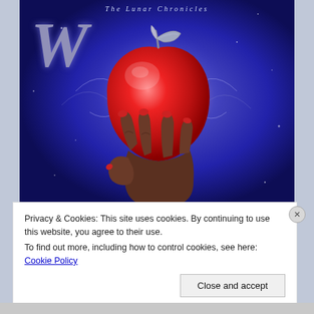[Figure (illustration): Book cover of 'Winter' from The Lunar Chronicles series. Features a large letter 'W' in ornate Gothic style on the left, the series title 'The Lunar Chronicles' at the top center, and a dramatic image of a dark-skinned hand with red nail polish holding a glowing red apple with a metallic silver leaf/stem decoration. The background is deep blue-purple with magical swirling light effects.]
Privacy & Cookies: This site uses cookies. By continuing to use this website, you agree to their use.
To find out more, including how to control cookies, see here: Cookie Policy
Close and accept